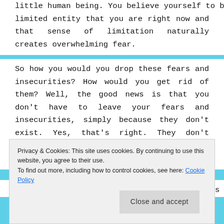little human being. You believe yourself to be a limited entity that you are right now and that sense of limitation naturally creates overwhelming fear.
So how you would you drop these fears and insecurities? How would you get rid of them? Well, the good news is that you don’t have to leave your fears and insecurities, simply because they don’t exist. Yes, that’s right. They don’t exist; YOU just keep creating them unconsciously.
To minimize the impact of these fears, it is
Privacy & Cookies: This site uses cookies. By continuing to use this website, you agree to their use.
To find out more, including how to control cookies, see here: Cookie Policy